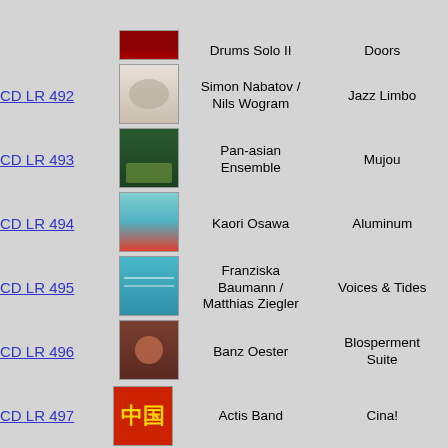| CD ID | Cover | Artist | Album |
| --- | --- | --- | --- |
| CD LR 492 | [image] | Simon Nabatov / Nils Wogram | Jazz Limbo |
| CD LR 493 | [image] | Pan-asian Ensemble | Mujou |
| CD LR 494 | [image] | Kaori Osawa | Aluminum |
| CD LR 495 | [image] | Franziska Baumann / Matthias Ziegler | Voices & Tides |
| CD LR 496 | [image] | Banz Oester | Blosperment Suite |
| CD LR 497 | [image] | Actis Band | Cina! |
| CD LR 498 | [image] | Urs Leimgruber Solo | 13 Pieces for Saxophone |